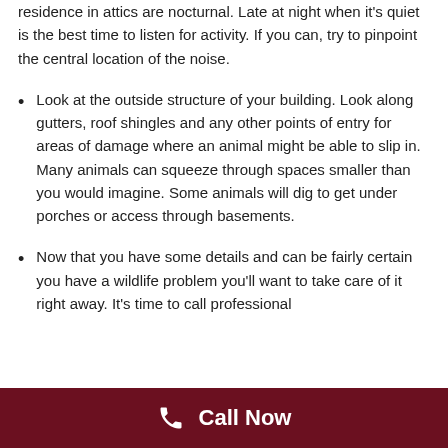residence in attics are nocturnal. Late at night when it's quiet is the best time to listen for activity. If you can, try to pinpoint the central location of the noise.
Look at the outside structure of your building. Look along gutters, roof shingles and any other points of entry for areas of damage where an animal might be able to slip in. Many animals can squeeze through spaces smaller than you would imagine. Some animals will dig to get under porches or access through basements.
Now that you have some details and can be fairly certain you have a wildlife problem you'll want to take care of it right away. It's time to call professional
Call Now